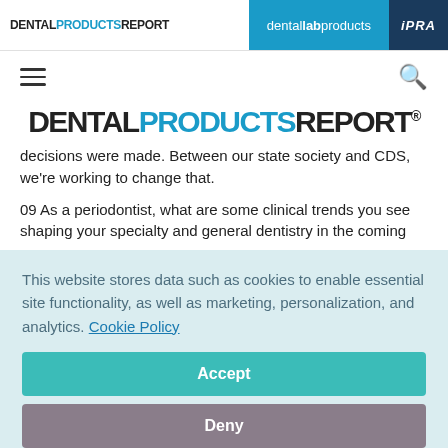DENTAL PRODUCTS REPORT | dental lab products | IPRA
[Figure (logo): DENTAL PRODUCTS REPORT logo - large centered masthead with PRODUCTS in blue]
decisions were made. Between our state society and CDS, we're working to change that.
09 As a periodontist, what are some clinical trends you see shaping your specialty and general dentistry in the coming
This website stores data such as cookies to enable essential site functionality, as well as marketing, personalization, and analytics. Cookie Policy
Accept
Deny